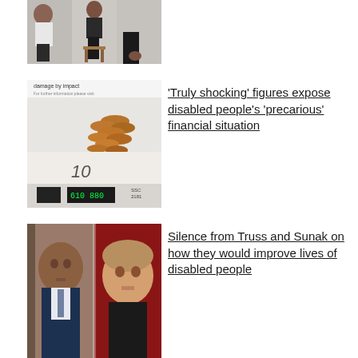[Figure (photo): Two people seated, one on a stool, partially visible]
[Figure (photo): Coins on a scale showing reading, with text 'damage by impact' and number 10 written]
'Truly shocking' figures expose disabled people's 'precarious' financial situation
[Figure (photo): Side-by-side photos of Rishi Sunak and Liz Truss]
Silence from Truss and Sunak on how they would improve lives of disabled people